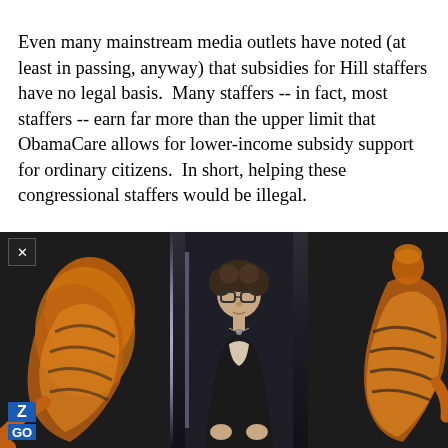Even many mainstream media outlets have noted (at least in passing, anyway) that subsidies for Hill staffers have no legal basis.  Many staffers -- in fact, most staffers -- earn far more than the upper limit that ObamaCare allows for lower-income subsidy support for ordinary citizens.  In short, helping these congressional staffers would be illegal.
[Figure (screenshot): A video player screenshot showing a person with glasses and curly hair speaking against a dark studio background with orange/golden figurative artwork displayed on screens behind them on both sides. A close button (X) is visible in the top-left corner, and a blue 'Z GO' logo appears in the bottom-left.]